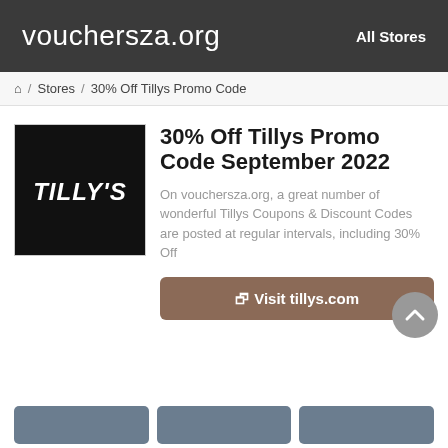vouchersza.org   All Stores
Home / Stores / 30% Off Tillys Promo Code
[Figure (logo): Tilly's store logo: white italic text 'TILLY'S' on black background]
30% Off Tillys Promo Code September 2022
On vouchersza.org, a great number of wonderful Tillys Coupons & Discount Codes are posted at regular intervals, including 30% Off
Visit tillys.com